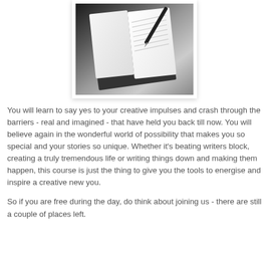[Figure (photo): Black and white photo of open notebooks/journals with a pen, viewed from above at an angle]
You will learn to say yes to your creative impulses and crash through the barriers - real and imagined - that have held you back till now. You will believe again in the wonderful world of possibility that makes you so special and your stories so unique. Whether it's beating writers block, creating a truly tremendous life or writing things down and making them happen, this course is just the thing to give you the tools to energise and inspire a creative new you.
So if you are free during the day, do think about joining us - there are still a couple of places left.